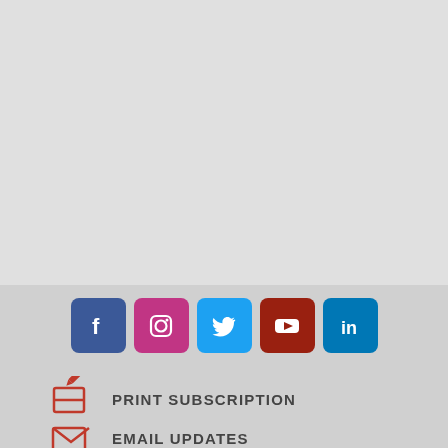[Figure (infographic): Social media icons row: Facebook (blue), Instagram (pink/magenta), Twitter (light blue), YouTube (dark red), LinkedIn (blue)]
PRINT SUBSCRIPTION
EMAIL UPDATES